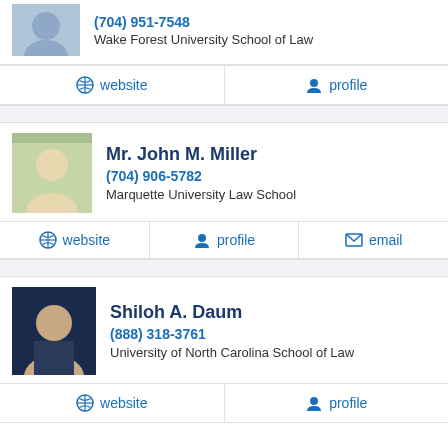(704) 951-7548
Wake Forest University School of Law
website | profile
Mr. John M. Miller
(704) 906-5782
Marquette University Law School
website | profile | email
Shiloh A. Daum
(888) 318-3761
University of North Carolina School of Law
website | profile